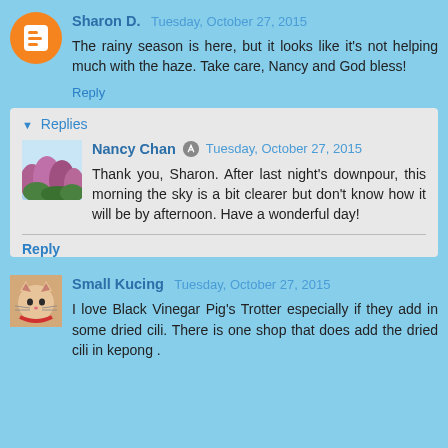Sharon D.  Tuesday, October 27, 2015
The rainy season is here, but it looks like it's not helping much with the haze. Take care, Nancy and God bless!
Reply
Replies
Nancy Chan  Tuesday, October 27, 2015
Thank you, Sharon. After last night's downpour, this morning the sky is a bit clearer but don't know how it will be by afternoon. Have a wonderful day!
Reply
Small Kucing  Tuesday, October 27, 2015
I love Black Vinegar Pig's Trotter especially if they add in some dried cili. There is one shop that does add the dried cili in kepong .